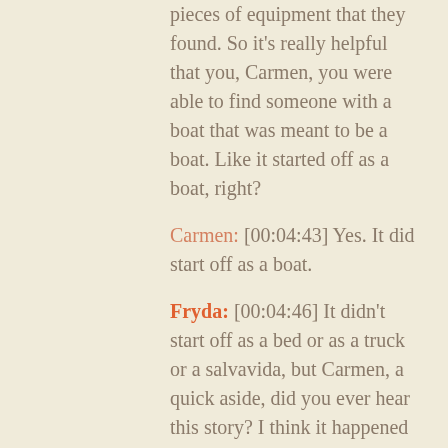pieces of equipment that they found. So it's really helpful that you, Carmen, you were able to find someone with a boat that was meant to be a boat. Like it started off as a boat, right?
Carmen: [00:04:43] Yes. It did start off as a boat.
Fryda: [00:04:46] It didn't start off as a bed or as a truck or a salvavida, but Carmen, a quick aside, did you ever hear this story? I think it happened later on way after the nineties, there was this group of Cubans who came over to the U S in a truck.
Carmen: [00:05:03] No, no, I've